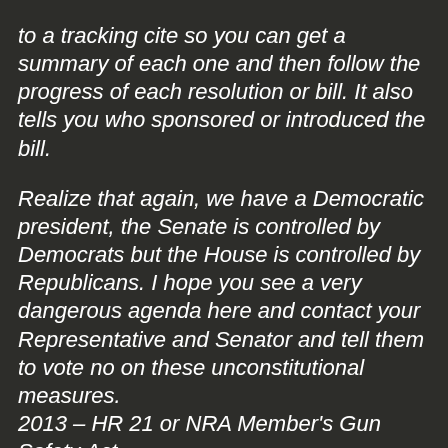to a tracking cite so you can get a summary of each one and then follow the progress of each resolution or bill. It also tells you who sponsored or introduced the bill.
Realize that again, we have a Democratic president, the Senate is controlled by Democrats but the House is controlled by Republicans. I hope you see a very dangerous agenda here and contact your Representative and Senator and tell them to vote no on these unconstitutional measures.
2013 – HR 21 or NRA Member's Gun Safety Act
2013 – HR 34 or Blair Holt's Firearm Licensing and Record of Sale Act
2013 – HR 65 or Child Gun Safety and Gun Access Prevention Act
2013 – HR 93 or Fire Sale Loophole Closing Act